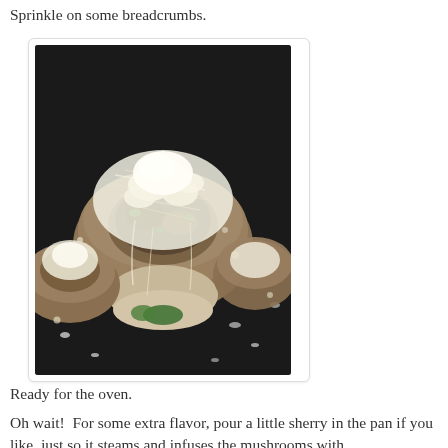Sprinkle on some breadcrumbs.
[Figure (photo): Close-up photo of stuffed mushrooms topped with grated cheese/breadcrumbs on a dark pan, ready for the oven.]
Ready for the oven.
Oh wait!  For some extra flavor, pour a little sherry in the pan if you like, just so it steams and infuses the mushrooms with